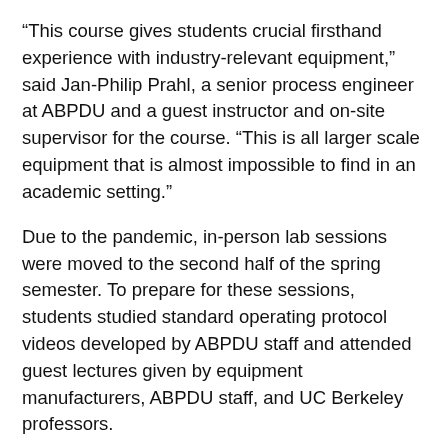“This course gives students crucial firsthand experience with industry-relevant equipment,” said Jan-Philip Prahl, a senior process engineer at ABPDU and a guest instructor and on-site supervisor for the course. “This is all larger scale equipment that is almost impossible to find in an academic setting.”
Due to the pandemic, in-person lab sessions were moved to the second half of the spring semester. To prepare for these sessions, students studied standard operating protocol videos developed by ABPDU staff and attended guest lectures given by equipment manufacturers, ABPDU staff, and UC Berkeley professors.
“It’s rare to find the combination of equipment and expertise that we have at the ABPDU. Our experience working with over 65 companies on novel technologies, along with our fermentation and downstream process development capabilities — from our Ambr system and 300 liter bioreactors to centrifugation and chromatography — allow us to evaluate the most fundamental aspects of a bioprocess.”